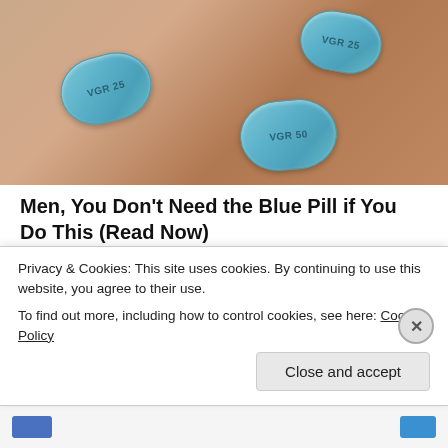[Figure (photo): A hand holding three blue diamond-shaped pills labeled VGR 25 and VGR 50]
Men, You Don't Need the Blue Pill if You Do This (Read Now)
NewsGoodTop
[Figure (photo): A man's face close-up (resembling Obama) next to the headline]
[Pics] At 60, Obama Lives In This Modest House
Privacy & Cookies: This site uses cookies. By continuing to use this website, you agree to their use.
To find out more, including how to control cookies, see here: Cookie Policy
Close and accept